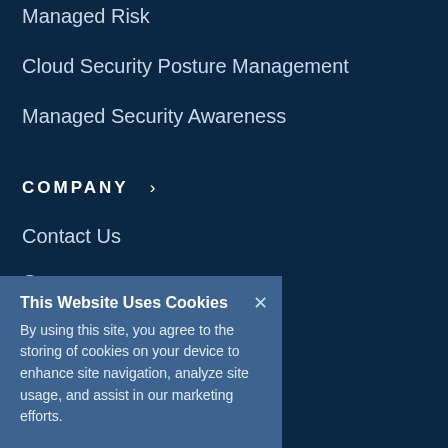Managed Risk
Cloud Security Posture Management
Managed Security Awareness
COMPANY ›
Contact Us
Careers
Leadership
Newsroom
This Website Uses Cookies
By using this site, you agree to the storing of cookies on your device to enhance site navigation, analyze site usage, and assist in our marketing efforts.